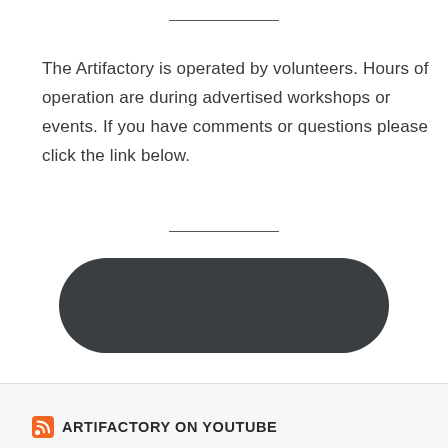The Artifactory is operated by volunteers. Hours of operation are during advertised workshops or events. If you have comments or questions please click the link below.
[Figure (other): Dark rounded pill-shaped button element]
ARTIFACTORY ON YOUTUBE